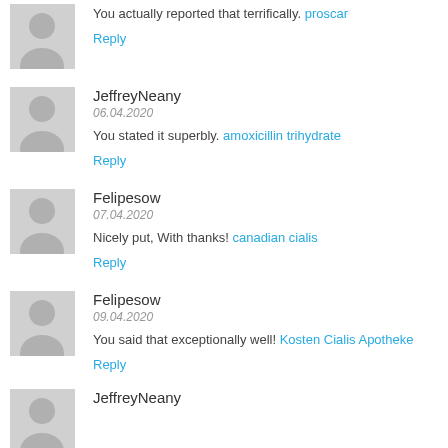You actually reported that terrifically. proscar
Reply
JeffreyNeany
06.04.2020
You stated it superbly. amoxicillin trihydrate
Reply
Felipesow
07.04.2020
Nicely put, With thanks! canadian cialis
Reply
Felipesow
09.04.2020
You said that exceptionally well! Kosten Cialis Apotheke
Reply
JeffreyNeany